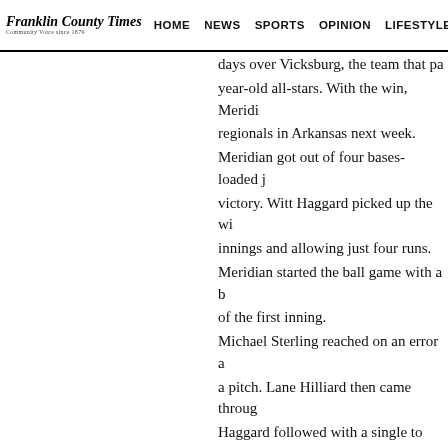Franklin County Times — HOME NEWS SPORTS OPINION LIFESTYLES
days over Vicksburg, the team that pa year-old all-stars. With the win, Meridi regionals in Arkansas next week. Meridian got out of four bases-loaded j victory. Witt Haggard picked up the wi innings and allowing just four runs. Meridian started the ball game with a b of the first inning. Michael Sterling reached on an error a a pitch. Lane Hilliard then came throug Haggard followed with a single to bring the score 2-0. After an error loaded the grounder the short. The throw went to Meridian went up 3-0. Meridian was not done, however. LaCo with a clutch two-strike single to right erro [x] centerfield allowed the final M score. Vicksburg answered with two runs in th Chris Snow had a two-out, two-run sing after one. Vicksburg scored again in the second w